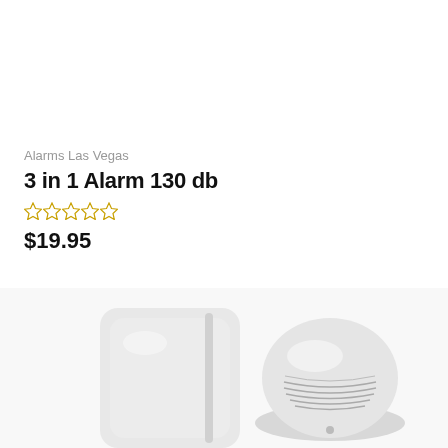Alarms Las Vegas
3 in 1 Alarm 130 db
★★★★★ (0 ratings)
$19.95
[Figure (photo): Two white alarm/security sensor devices on white background — one rectangular wall-mount sensor on the left and one round dome-shaped alarm sensor on the right]